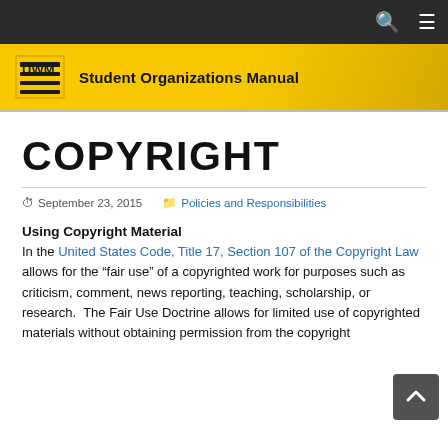UWM Student Organizations Manual
COPYRIGHT
September 23, 2015   Policies and Responsibilities
Using Copyright Material
In the United States Code, Title 17, Section 107 of the Copyright Law allows for the “fair use” of a copyrighted work for purposes such as criticism, comment, news reporting, teaching, scholarship, or research.  The Fair Use Doctrine allows for limited use of copyrighted materials without obtaining permission from the copyright